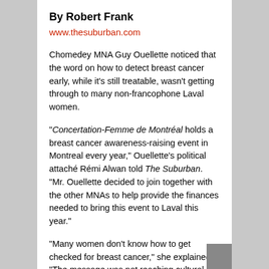By Robert Frank
www.thesuburban.com
Chomedey MNA Guy Ouellette noticed that the word on how to detect breast cancer early, while it's still treatable, wasn't getting through to many non-francophone Laval women.
“Concertation-Femme de Montréal holds a breast cancer awareness-raising event in Montreal every year,” Ouellette’s political attaché Rémi Alwan told The Suburban. “Mr. Ouellette decided to join together with the other MNAs to help provide the finances needed to bring this event to Laval this year.”
“Many women don’t know how to get checked for breast cancer,” she explained. “The message was not reaching cultural communities. When